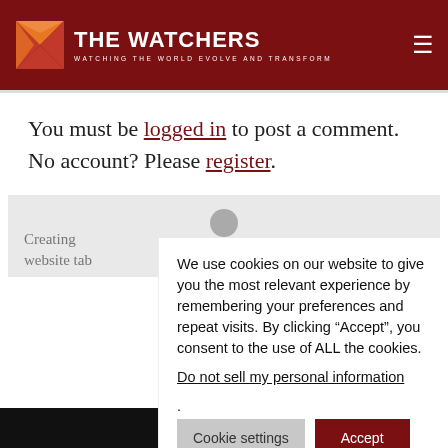THE WATCHERS — WATCHING THE WORLD EVOLVE AND TRANSFORM
You must be logged in to post a comment. No account? Please register.
Creating ... website ta...
We use cookies on our website to give you the most relevant experience by remembering your preferences and repeat visits. By clicking “Accept”, you consent to the use of ALL the cookies.
Do not sell my personal information.
Cookie settings   Accept